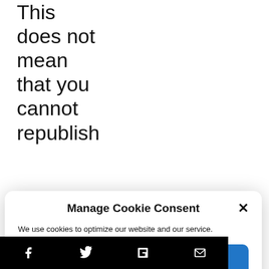This does not mean that you cannot republish
[Figure (screenshot): Manage Cookie Consent modal dialog with Accept button, Cookie Policy and Privacy Statement links, and a close (X) button]
a more attractive and optimise
[Figure (infographic): Black social sharing bar at bottom with Facebook, Twitter, Flipboard, and Email icons]